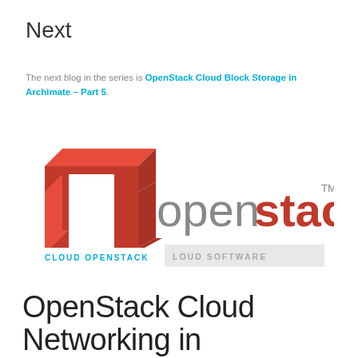Next
The next blog in the series is OpenStack Cloud Block Storage in Archimate – Part 5.
[Figure (logo): OpenStack logo: red 3D arch shape on left, 'openstack TM' in red and gray text on right, with 'CLOUD OPENSTACK' in cyan below the arch and 'LOUD SOFTWARE' in gray to the right]
OpenStack Cloud Networking in Archimate – Part 3